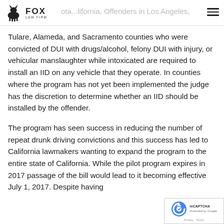Fox Law Firm — [partial header text visible: '...ota...lifornia. Offenders in Los Angeles,']
Tulare, Alameda, and Sacramento counties who were convicted of DUI with drugs/alcohol, felony DUI with injury, or vehicular manslaughter while intoxicated are required to install an IID on any vehicle that they operate. In counties where the program has not yet been implemented the judge has the discretion to determine whether an IID should be installed by the offender.
The program has seen success in reducing the number of repeat drunk driving convictions and this success has led to California lawmakers wanting to expand the program to the entire state of California. While the pilot program expires in 2017 passage of the bill would lead to it becoming effective July 1, 2017. Despite having